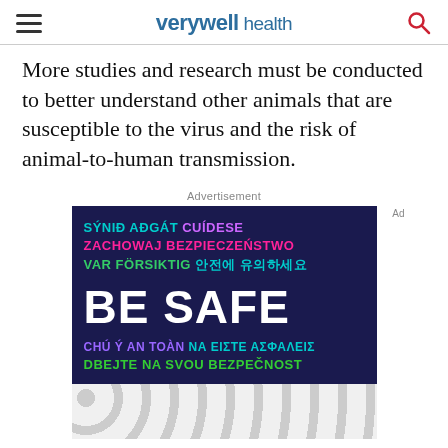verywell health
More studies and research must be conducted to better understand other animals that are susceptible to the virus and the risk of animal-to-human transmission.
Advertisement
[Figure (other): Advertisement banner with multilingual 'BE SAFE' text on dark navy background, with text in various languages and colors including cyan, purple, pink, green, and teal.]